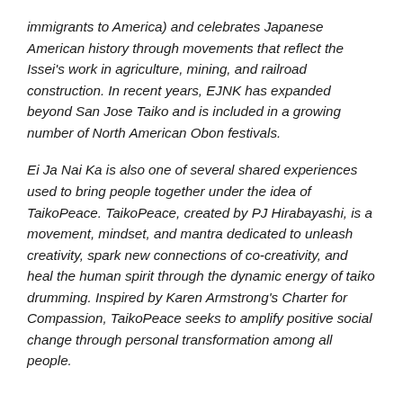immigrants to America) and celebrates Japanese American history through movements that reflect the Issei's work in agriculture, mining, and railroad construction. In recent years, EJNK has expanded beyond San Jose Taiko and is included in a growing number of North American Obon festivals.
Ei Ja Nai Ka is also one of several shared experiences used to bring people together under the idea of TaikoPeace. TaikoPeace, created by PJ Hirabayashi, is a movement, mindset, and mantra dedicated to unleash creativity, spark new connections of co-creativity, and heal the human spirit through the dynamic energy of taiko drumming. Inspired by Karen Armstrong's Charter for Compassion, TaikoPeace seeks to amplify positive social change through personal transformation among all people.